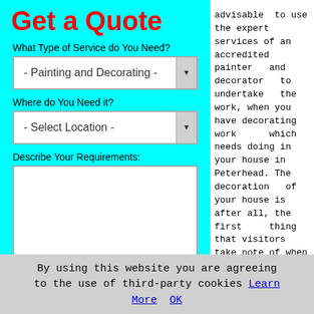Get a Quote
What Type of Service do You Need?
- Painting and Decorating -
Where do You Need it?
- Select Location -
Describe Your Requirements:
SUBMIT
advisable to use the expert services of an accredited painter and decorator to undertake the work, when you have decorating work which needs doing in your house in Peterhead. The decoration of your house is after all, the first thing that visitors take note of when they walk through your front
By using this website you are agreeing to the use of third-party cookies Learn More  OK